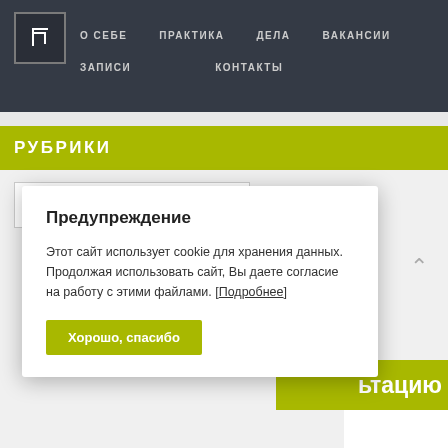[Figure (logo): Square logo with angular arrow/cursor icon, white on dark background]
О СЕБЕ   ПРАКТИКА   ДЕЛА   ВАКАНСИИ   ЗАПИСИ   КОНТАКТЫ
РУБРИКИ
Предупреждение
Этот сайт использует cookie для хранения данных. Продолжая использовать сайт, Вы даете согласие на работу с этими файлами. [Подробнее]
Хорошо, спасибо
ьтацию